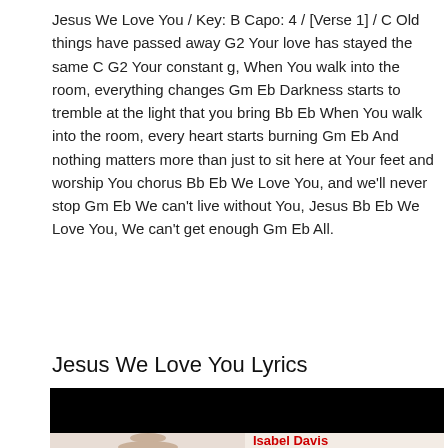Jesus We Love You / Key: B Capo: 4 / [Verse 1] / C Old things have passed away G2 Your love has stayed the same C G2 Your constant g, When You walk into the room, everything changes Gm Eb Darkness starts to tremble at the light that you bring Bb Eb When You walk into the room, every heart starts burning Gm Eb And nothing matters more than just to sit here at Your feet and worship You chorus Bb Eb We Love You, and we'll never stop Gm Eb We can't live without You, Jesus Bb Eb We Love You, We can't get enough Gm Eb All.
Jesus We Love You Lyrics
[Figure (photo): Black banner bar followed by a photo of a woman with long brown hair next to red bold text reading 'Isabel Davis' and bold black text reading '"Jesus We']